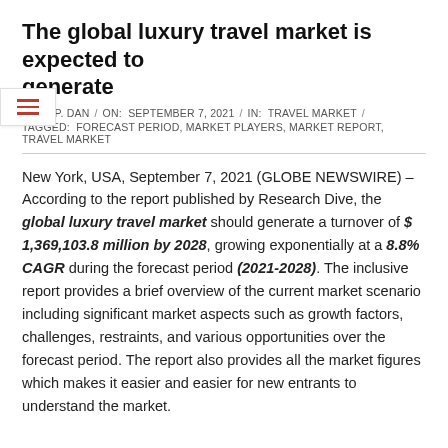The global luxury travel market is expected to generate
JOHN P. DAN  /  ON:  SEPTEMBER 7, 2021  /  IN:  TRAVEL MARKET  /  TAGGED:  FORECAST PERIOD, MARKET PLAYERS, MARKET REPORT, TRAVEL MARKET
New York, USA, September 7, 2021 (GLOBE NEWSWIRE) – According to the report published by Research Dive, the global luxury travel market should generate a turnover of $ 1,369,103.8 million by 2028, growing exponentially at a 8.8% CAGR during the forecast period (2021-2028). The inclusive report provides a brief overview of the current market scenario including significant market aspects such as growth factors, challenges, restraints, and various opportunities over the forecast period. The report also provides all the market figures which makes it easier and easier for new entrants to understand the market.